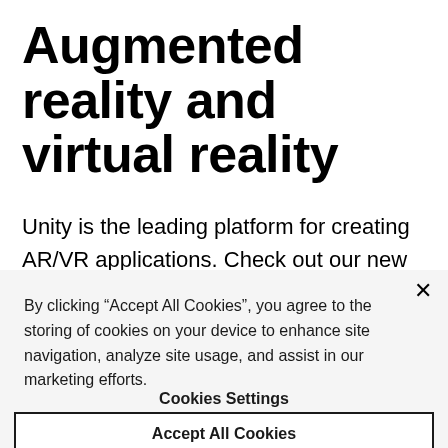Augmented reality and virtual reality
Unity is the leading platform for creating AR/VR applications. Check out our new features and updates to help you create powerful experiences
By clicking “Accept All Cookies”, you agree to the storing of cookies on your device to enhance site navigation, analyze site usage, and assist in our marketing efforts.
Cookies Settings
Accept All Cookies